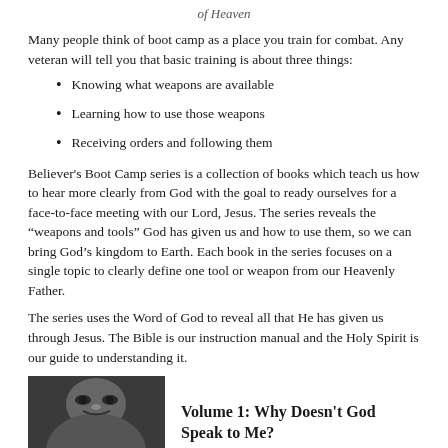of Heaven
Many people think of boot camp as a place you train for combat. Any veteran will tell you that basic training is about three things:
Knowing what weapons are available
Learning how to use those weapons
Receiving orders and following them
Believer's Boot Camp series is a collection of books which teach us how to hear more clearly from God with the goal to ready ourselves for a face-to-face meeting with our Lord, Jesus. The series reveals the “weapons and tools” God has given us and how to use them, so we can bring God’s kingdom to Earth. Each book in the series focuses on a single topic to clearly define one tool or weapon from our Heavenly Father.
The series uses the Word of God to reveal all that He has given us through Jesus. The Bible is our instruction manual and the Holy Spirit is our guide to understanding it.
[Figure (photo): Black and white close-up photo of a person's face]
Volume 1: Why Doesn't God Speak to Me?